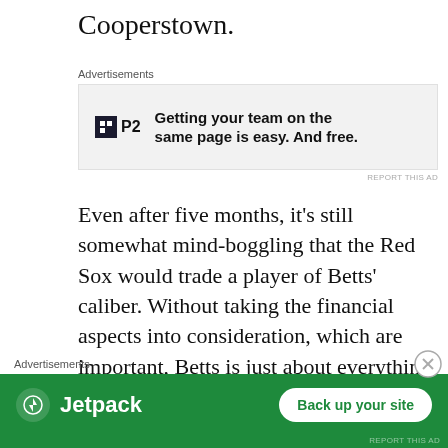Cooperstown.
[Figure (other): Advertisement banner for P2: 'Getting your team on the same page is easy. And free.']
Even after five months, it’s still somewhat mind-boggling that the Red Sox would trade a player of Betts’ caliber. Without taking the financial aspects into consideration, which are important, Betts is just about everything you would want in a professional baseball player. From being a once-undervalued homegrown talent to an MVP and perennial All-Star, he was
[Figure (other): Advertisement banner for Jetpack: 'Back up your site']